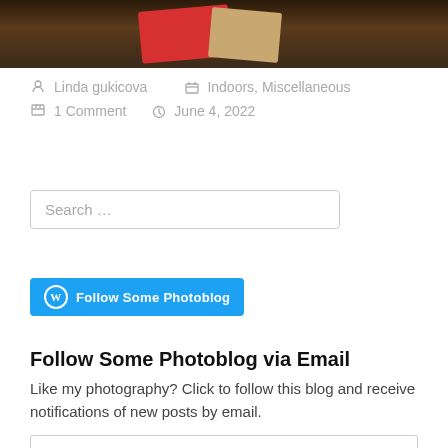[Figure (photo): Top portion of a photo showing red and beige cards on a dark wooden surface]
Linda gukicova   Indoors, Miscellaneous
1 Comment   June 4, 2022
Search …
[Figure (other): WordPress Follow button: Follow Some Photoblog]
Follow Some Photoblog via Email
Like my photography? Click to follow this blog and receive notifications of new posts by email.